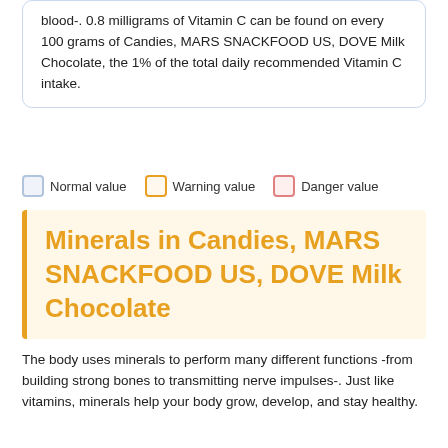blood-. 0.8 milligrams of Vitamin C can be found on every 100 grams of Candies, MARS SNACKFOOD US, DOVE Milk Chocolate, the 1% of the total daily recommended Vitamin C intake.
Normal value  Warning value  Danger value
Minerals in Candies, MARS SNACKFOOD US, DOVE Milk Chocolate
The body uses minerals to perform many different functions -from building strong bones to transmitting nerve impulses-. Just like vitamins, minerals help your body grow, develop, and stay healthy.
Calcium (160 mg), Sodium (63 mg) and Iron (1.11 mg) are some of the minerals present in Candies, MARS SNACKFOOD US, DOVE Milk Chocolate.